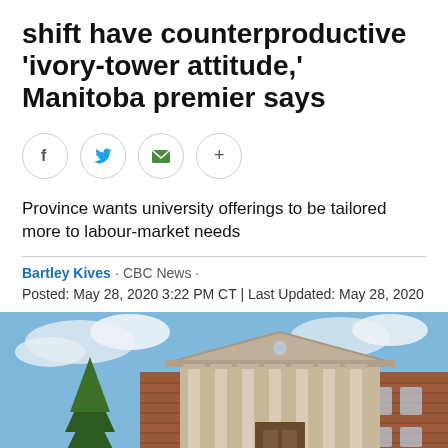shift have counterproductive 'ivory-tower attitude,' Manitoba premier says
[Figure (infographic): Social sharing buttons: Facebook (f), Twitter (bird icon), Email (envelope icon), More (+)]
Province wants university offerings to be tailored more to labour-market needs
Bartley Kives · CBC News · Posted: May 28, 2020 3:22 PM CT | Last Updated: May 28, 2020
[Figure (photo): Photograph of a large university or government building with classical columns and brick facade, with a large evergreen tree in front and a partly cloudy blue sky.]